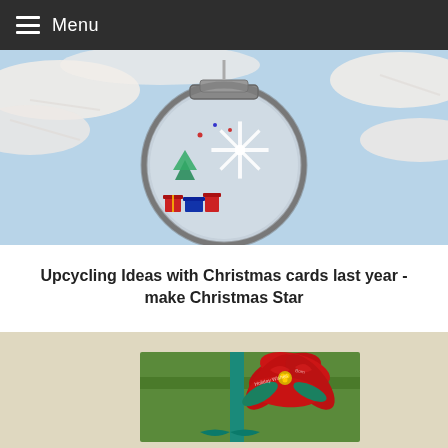Menu
[Figure (photo): A circular mason jar lid ornament hanging on a white feather Christmas tree branch, with a snowy scene inside featuring a white snowflake, miniature red gift boxes, and a small Christmas tree against a blue sky background.]
Upcycling Ideas with Christmas cards last year - make Christmas Star
[Figure (photo): A green wrapped gift box decorated with a handmade red poinsettia flower crafted from Christmas cards, with teal ribbon accents and holiday text visible on the card petals.]